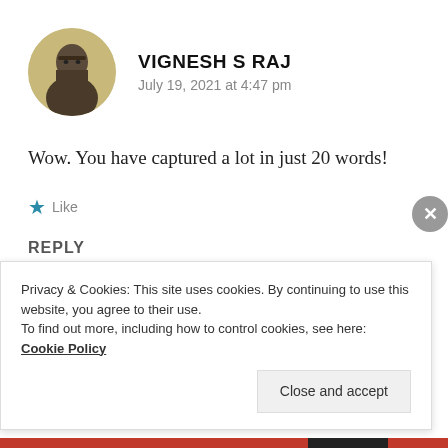VIGNESH S RAJ
July 19, 2021 at 4:47 pm
Wow. You have captured a lot in just 20 words!
Like
REPLY
Privacy & Cookies: This site uses cookies. By continuing to use this website, you agree to their use.
To find out more, including how to control cookies, see here: Cookie Policy
Close and accept